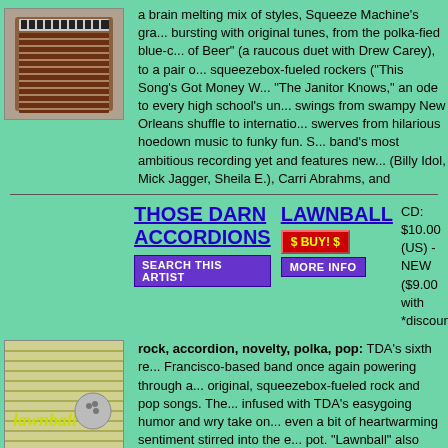[Figure (photo): Photo of an accordion/squeeze box instrument]
a brain melting mix of styles, Squeeze Machine's gr... bursting with original tunes, from the polka-fied blue-c... of Beer" (a raucous duet with Drew Carey), to a pair o... squeezebox-fueled rockers ("This Song's Got Money W... "The Janitor Knows," an ode to every high school's un... swings from swampy New Orleans shuffle to internatio... swerves from hilarious hoedown music to funky fun. S... band's most ambitious recording yet and features new ... (Billy Idol, Mick Jagger, Sheila E.), Carri Abrahms, and
THOSE DARN ACCORDIONS
SEARCH THIS ARTIST
LAWNBALL
$ BUY! $
MORE INFO
CD: $10.00 (US) - NEW ($9.00 with *discount)
GL... RE... SE...
rock, accordion, novelty, polka, pop: TDA's sixth re... Francisco-based band once again powering through a... original, squeezebox-fueled rock and pop songs. The... infused with TDA's easygoing humor and wry take on... even a bit of heartwarming sentiment stirred into the e... pot. "Lawnball" also finds the band breaking out of the... time" mode with a few special guest spots: Bay Area a... include Nik Phelps (trumpet) and Jim Rothermel (clari... are still undeniably the name of the game on "Lawnba... instruments are a happy addition to the sonic mix; bar... couldn't resist sprinkling in some piano and acoustic g... rockers Edgar Winter and Led Zeppelin get the nod th
[Figure (photo): Album cover for Lawnball by Those Darn Accordions]